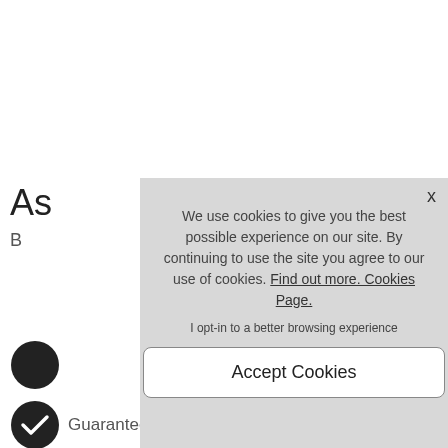As
B
[Figure (other): Partial circular icon (dark), partially cropped at left edge]
[Figure (other): Partial circular icon (dark) with checkmark, partially cropped at left edge]
Guaranteed Authentic
We use cookies to give you the best possible experience on our site. By continuing to use the site you agree to our use of cookies. Find out more. Cookies Page.
I opt-in to a better browsing experience
Accept Cookies